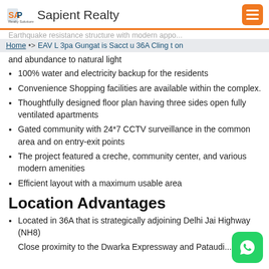Sapient Realty
Home > > EAV L 3pa Gungat is Sacct u 36A Cling t on
and abundance to natural light
100% water and electricity backup for the residents
Convenience Shopping facilities are available within the complex.
Thoughtfully designed floor plan having three sides open fully ventilated apartments
Gated community with 24*7 CCTV surveillance in the common area and on entry-exit points
The project featured a creche, community center, and various modern amenities
Efficient layout with a maximum usable area
Location Advantages
Located in 36A that is strategically adjoining Delhi Jai Highway (NH8)
Close proximity to the Dwarka Expressway and Pataudi...